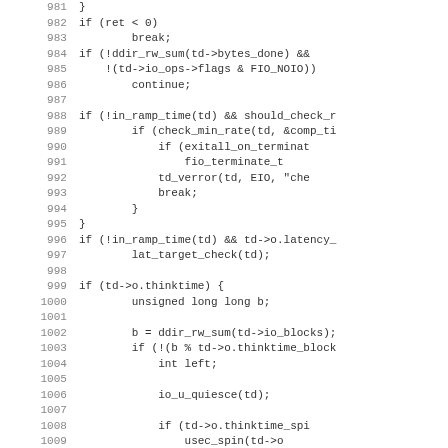[Figure (other): Source code listing (C language) showing lines 981-1012 of a file, with line numbers on the left and code on the right. The code includes control flow logic with if statements, break/continue, function calls like ddir_rw_sum, in_ramp_time, check_min_rate, exitall_on_terminate, fio_terminate_t, td_verror, lat_target_check, io_u_quiesce, usec_spin, and variables like thinktime, thinktime_block, thinktime_spin.]